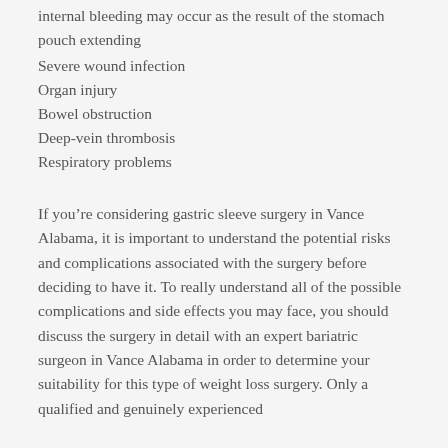internal bleeding may occur as the result of the stomach pouch extending
Severe wound infection
Organ injury
Bowel obstruction
Deep-vein thrombosis
Respiratory problems
If you’re considering gastric sleeve surgery in Vance Alabama, it is important to understand the potential risks and complications associated with the surgery before deciding to have it. To really understand all of the possible complications and side effects you may face, you should discuss the surgery in detail with an expert bariatric surgeon in Vance Alabama in order to determine your suitability for this type of weight loss surgery. Only a qualified and genuinely experienced